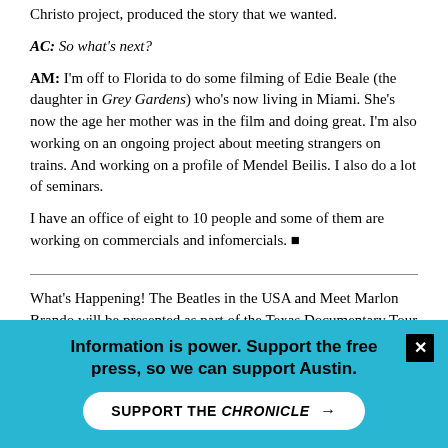Christo project, produced the story that we wanted.
AC: So what's next?
AM: I'm off to Florida to do some filming of Edie Beale (the daughter in Grey Gardens) who's now living in Miami. She's now the age her mother was in the film and doing great. I'm also working on an ongoing project about meeting strangers on trains. And working on a profile of Mendel Beilis. I also do a lot of seminars.
I have an office of eight to 10 people and some of them are working on commercials and infomercials. ■
What's Happening! The Beatles in the USA and Meet Marlon Brando will be presented as part of the Texas Documentary Tour on Wednesday, February 16, 7pm & 9:30pm, at the Alamo Drafthouse, 409 Colorado. Filmmaker Albert Maysles will be in attendance to introduce each film and conduct a Q&A session afterward. Tickets are on sale by phone (322-0145) through Tuesday (10am-2pm) for AFS and KLRU members only. Tickets will go on sale at 6:15pm on the day of the show. Admission
Information is power. Support the free press, so we can support Austin.
SUPPORT THE CHRONICLE →